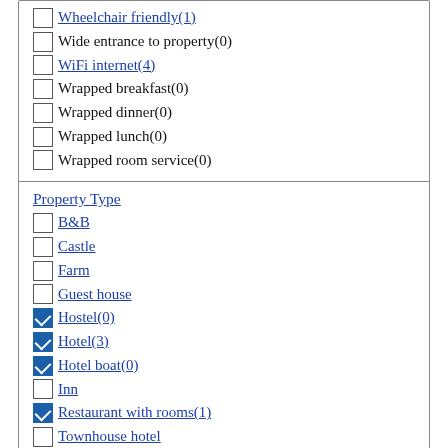Wheelchair friendly(1)
Wide entrance to property(0)
WiFi internet(4)
Wrapped breakfast(0)
Wrapped dinner(0)
Wrapped lunch(0)
Wrapped room service(0)
Property Type
B&B
Castle
Farm
Guest house
Hostel(0) [checked]
Hotel(3) [checked]
Hotel boat(0) [checked]
Inn
Restaurant with rooms(1) [checked]
Townhouse hotel
Travel accommodation
clear [x]
Type of Stay